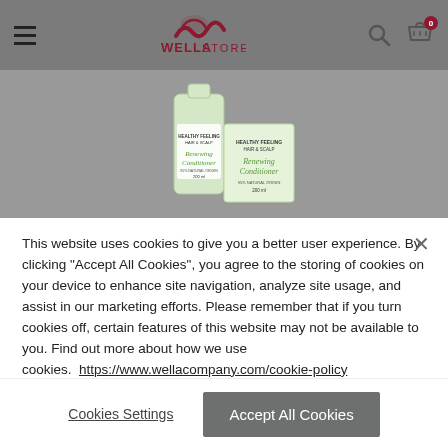WellaStore - navigation header with hamburger menu, logo, search and cart icons
[Figure (photo): Wella Healthy Feeling Hair & Scalp Renewing Conditioner product image, 200ml, 95% natural origin, shown against grey background]
This website uses cookies to give you a better user experience. By clicking "Accept All Cookies", you agree to the storing of cookies on your device to enhance site navigation, analyze site usage, and assist in our marketing efforts. Please remember that if you turn cookies off, certain features of this website may not be available to you. Find out more about how we use cookies. https://www.wellacompany.com/cookie-policy
Cookies Settings
Accept All Cookies